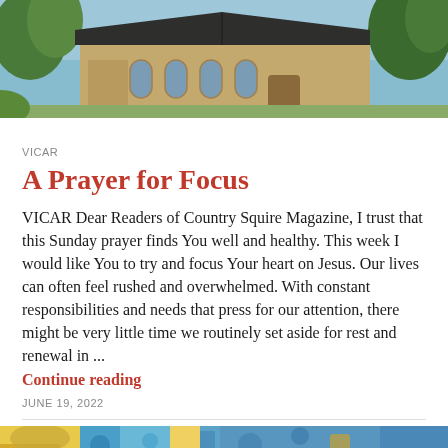[Figure (photo): Photograph of a stone church building with gothic arched windows and a dark roof, surrounded by trees against a blue sky]
VICAR
A Prayer for Focus
VICAR Dear Readers of Country Squire Magazine, I trust that this Sunday prayer finds You well and healthy. This week I would like You to try and focus Your heart on Jesus. Our lives can often feel rushed and overwhelmed. With constant responsibilities and needs that press for our attention, there might be very little time we routinely set aside for rest and renewal in ...
Continue reading
JUNE 19, 2022
[Figure (photo): Colorful decorative image partially visible at the bottom of the page, showing blues, yellows and decorative motifs]